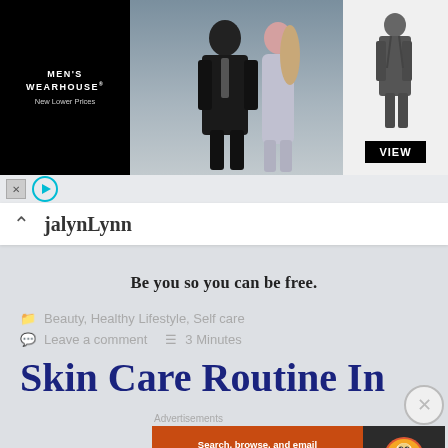[Figure (photo): Men's Wearhouse advertisement banner showing a couple in formal wear and a man in a suit with a VIEW button]
jalynLynn
Be you so you can be free.
Beauty, Healthy Lifestyle, Self care
Leave a comment   3 Minutes
Skin Care Routine In
[Figure (screenshot): DuckDuckGo advertisement: Search, browse, and email with more privacy. All in One Free App]